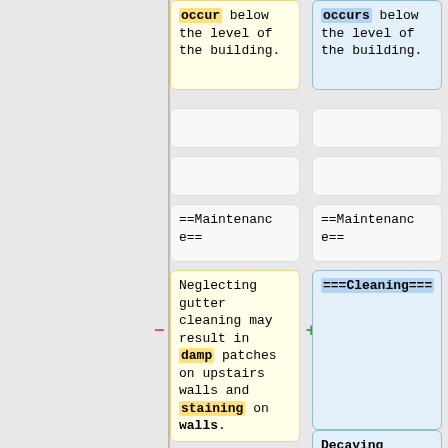occur below the level of the building.
occurs below the level of the building.
==Maintenance==
==Maintenance==
Neglecting gutter cleaning may result in damp patches on upstairs walls and staining on walls.
===Cleaning===
Decaying